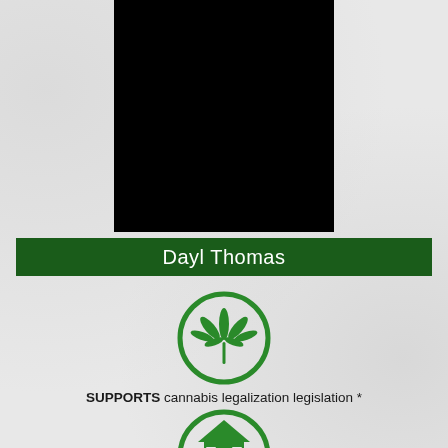[Figure (photo): Black rectangle placeholder for candidate photo]
Dayl Thomas
[Figure (illustration): Green cannabis leaf icon inside a green circle]
SUPPORTS cannabis legalization legislation *
[Figure (illustration): Green house icon inside a green circle (partially visible)]